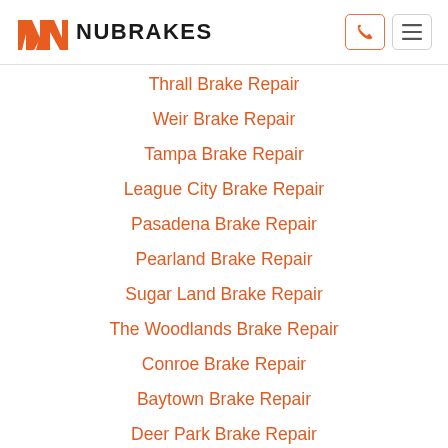NUBRAKES
Thrall Brake Repair
Weir Brake Repair
Tampa Brake Repair
League City Brake Repair
Pasadena Brake Repair
Pearland Brake Repair
Sugar Land Brake Repair
The Woodlands Brake Repair
Conroe Brake Repair
Baytown Brake Repair
Deer Park Brake Repair